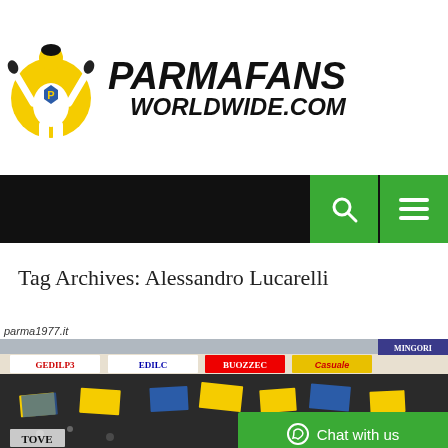[Figure (logo): ParmafansWorldwide.com website logo with mascot figure (person with arms raised in yellow circle) and bold italic site name]
[Figure (screenshot): Dark navigation bar with green search button (magnifying glass icon) and green hamburger menu button on the right]
Tag Archives: Alessandro Lucarelli
parma1977.it
[Figure (photo): Stadium crowd photo showing Parma FC fans with yellow and blue flags and banners in stadium stands, with advertising boards visible. Bottom banner reads text in Italian including VINCERE.]
Chat with us